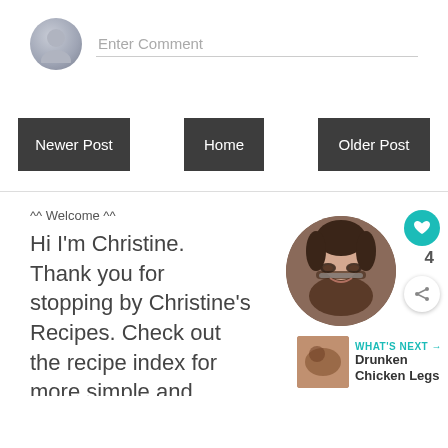[Figure (screenshot): Comment input area with avatar circle and 'Enter Comment' placeholder text]
Newer Post
Home
Older Post
^^ Welcome ^^
Hi I'm Christine. Thank you for stopping by Christine's Recipes. Check out the recipe index for more simple and delicious dishes. Happy cooking. More about me and Google+
[Figure (photo): Circular profile photo of Christine, an Asian woman with glasses, with a teal heart button showing 4 likes and a share button]
[Figure (screenshot): WHAT'S NEXT -> Drunken Chicken Legs thumbnail and label]